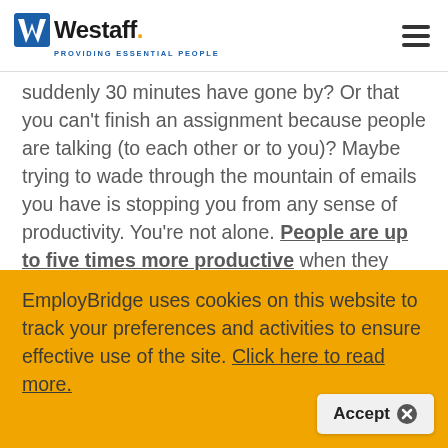Westaff — PROVIDING ESSENTIAL PEOPLE
suddenly 30 minutes have gone by? Or that you can't finish an assignment because people are talking (to each other or to you)? Maybe trying to wade through the mountain of emails you have is stopping you from any sense of productivity. You're not alone. People are up to five times more productive when they reach a "flow
EmployBridge uses cookies on this website to track your preferences and activities to ensure effective use of the site. Click here to read more.